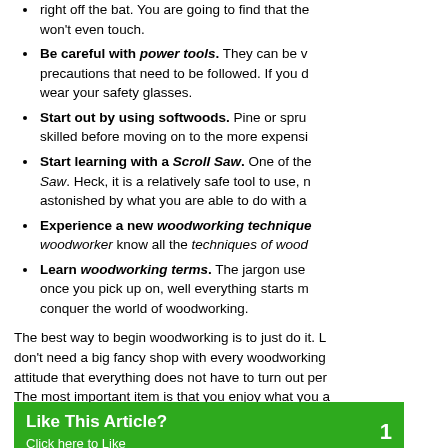right off the bat. You are going to find that the won't even touch.
Be careful with power tools. They can be very dangerous. There are precautions that need to be followed. If you do nothing else at all, wear your safety glasses.
Start out by using softwoods. Pine or spruce until you are more skilled before moving on to the more expensive hardwoods.
Start learning with a Scroll Saw. One of the easiest tools is the Scroll Saw. Heck, it is a relatively safe tool to use, not to mention you will be astonished by what you are able to do with a Scroll Saw.
Experience a new woodworking technique. Every woodworker know all the techniques of woodworking.
Learn woodworking terms. The jargon used in woodworking once you pick up on, well everything starts making sense. Go conquer the world of woodworking.
The best way to begin woodworking is to just do it. Look, you don't need a big fancy shop with every woodworking tool. Have an attitude that everything does not have to turn out perfectly right away. The most important item is that you enjoy what you are doing with woodworking !
Article Source: http://www.streetarticles.com/diy/how...